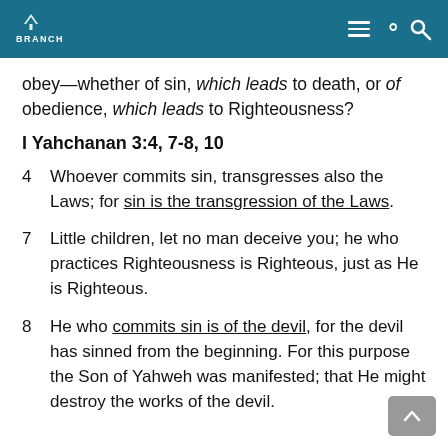BRANCH
obey—whether of sin, which leads to death, or of obedience, which leads to Righteousness?
I Yahchanan 3:4, 7-8, 10
4   Whoever commits sin, transgresses also the Laws; for sin is the transgression of the Laws.
7   Little children, let no man deceive you; he who practices Righteousness is Righteous, just as He is Righteous.
8   He who commits sin is of the devil, for the devil has sinned from the beginning. For this purpose the Son of Yahweh was manifested; that He might destroy the works of the devil.